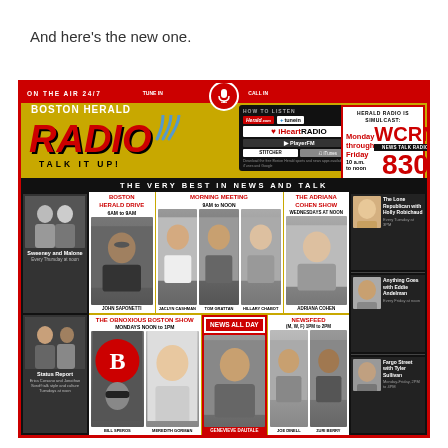And here’s the new one.
[Figure (infographic): Boston Herald Radio advertisement showing ON THE AIR 24/7, Boston Herald Radio logo with radio waves, HOW TO LISTEN section with Herald.com, tunein, iHeartRadio, PlayerFM, Stitcher, iTunes logos, HERALD RADIO IS SIMULCAST Monday through Friday WCRN NEWS TALK RADIO 830 10 a.m. to noon, THE VERY BEST IN NEWS AND TALK bar, show grid with: Boston Herald Drive 6AM to 9AM (John Saponetti), Morning Meeting 9AM to Noon (Jaclyn Cashman, Tom Grattan, Hillary Chabot), The Adriana Cohen Show Wednesdays at Noon (Adriana Cohen), Sweeney and Malone Every Thursday at noon, Status Report (Erica Corsano and Jonathan Soroff talk style and culture Tuesdays at noon), The Obnoxious Boston Show Mondays Noon to 1PM (Bill Speros, Meredith Gorman), News All Day (Genevieve Dautale), Newsfeed M W F 1PM to 2PM (Joe Dinell, Zuri Berry), The Lone Republican with Holly Robichaud Every Tuesday at 3PM, Anything Goes with Eddie Andelman Every Friday at noon, Fargo Street with Tyler Sullivan Monday-Friday 2PM to 4PM]